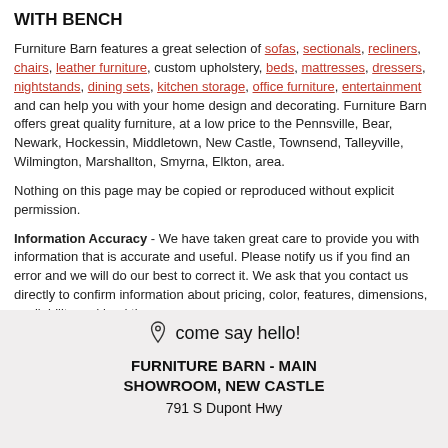WITH BENCH
Furniture Barn features a great selection of sofas, sectionals, recliners, chairs, leather furniture, custom upholstery, beds, mattresses, dressers, nightstands, dining sets, kitchen storage, office furniture, entertainment and can help you with your home design and decorating. Furniture Barn offers great quality furniture, at a low price to the Pennsville, Bear, Newark, Hockessin, Middletown, New Castle, Townsend, Talleyville, Wilmington, Marshallton, Smyrna, Elkton, area.
Nothing on this page may be copied or reproduced without explicit permission.
Information Accuracy - We have taken great care to provide you with information that is accurate and useful. Please notify us if you find an error and we will do our best to correct it. We ask that you contact us directly to confirm information about pricing, color, features, dimensions, availability and lead times.
come say hello!
FURNITURE BARN - MAIN SHOWROOM, NEW CASTLE
791 S Dupont Hwy